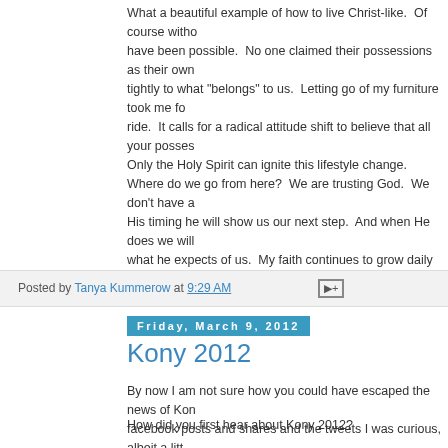What a beautiful example of how to live Christ-like. Of course witho... have been possible. No one claimed their possessions as their own... tightly to what "belongs" to us. Letting go of my furniture took me fo... ride. It calls for a radical attitude shift to believe that all your posses... Only the Holy Spirit can ignite this lifestyle change. Where do we go from here? We are trusting God. We don't have a... His timing he will show us our next step. And when He does we will... what he expects of us. My faith continues to grow daily and with the... learning to fully rely on God!
Posted by Tanya Kummerow at 9:29 AM
Friday, March 9, 2012
Kony 2012
By now I am not sure how you could have escaped the news of Kon... facebook posts and shares and the tweets I was curious, albeit a litt...
How did you first hear about Kony 2012?
Finally when my entire timeline was full of Kony 2012 I clicked on a l...